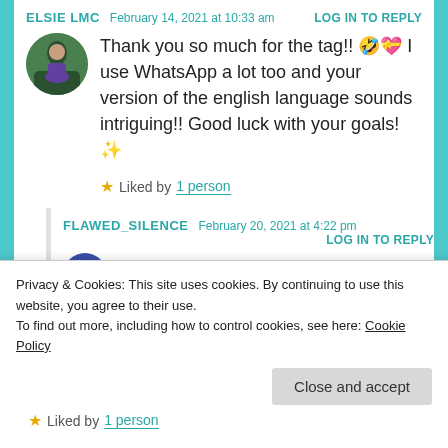ELSIE LMC   February 14, 2021 at 10:33 am   LOG IN TO REPLY
Thank you so much for the tag!! 🤣💝 I use WhatsApp a lot too and your version of the english language sounds intriguing!! Good luck with your goals! ✨
★ Liked by 1 person
FLAWED_SILENCE   February 20, 2021 at 4:22 pm   LOG IN TO REPLY
Privacy & Cookies: This site uses cookies. By continuing to use this website, you agree to their use.
To find out more, including how to control cookies, see here: Cookie Policy
Close and accept
★ Liked by 1 person